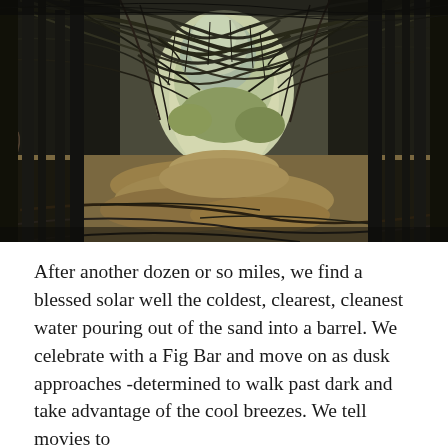[Figure (photo): A natural tunnel formed by arching bare trees and branches over a sandy dirt path, with dried grasses and fallen branches on the ground, and green vegetation visible through the opening in the background.]
After another dozen or so miles, we find a blessed solar well the coldest, clearest, cleanest water pouring out of the sand into a barrel. We celebrate with a Fig Bar and move on as dusk approaches -determined to walk past dark and take advantage of the cool breezes. We tell movies to